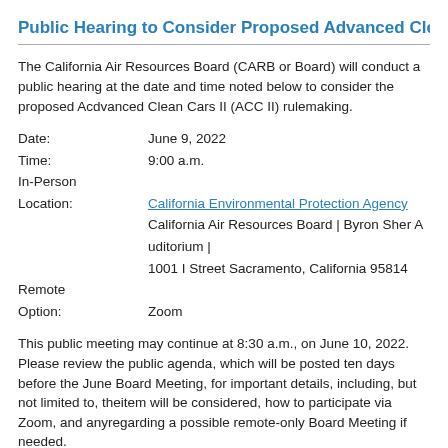Public Hearing to Consider Proposed Advanced Clean Cars II (ACC II) Rulemaking
The California Air Resources Board (CARB or Board) will conduct a public hearing at the date and time noted below to consider the proposed Advanced Clean Cars II (ACC II) rulemaking.
Date: June 9, 2022
Time: 9:00 a.m.
In-Person
Location: California Environmental Protection Agency | California Air Resources Board | Byron Sher Auditorium | 1001 I Street Sacramento, California 95814
Remote
Option: Zoom
This public meeting may continue at 8:30 a.m., on June 10, 2022. Please review the public agenda, which will be posted ten days before the June Board Meeting, for important details, including, but not limited to, the time of day this item will be considered, how to participate via Zoom, and any contingency plans regarding a possible remote-only Board Meeting if needed.